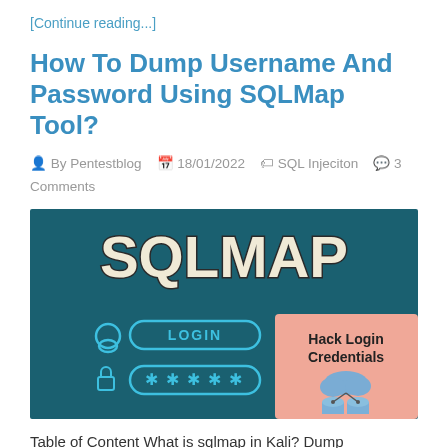[Continue reading...]
How To Dump Username And Password Using SQLMap Tool?
By Pentestblog   18/01/2022   SQL Injeciton   3 Comments
[Figure (illustration): SQLMap tool banner image with dark teal background showing large stylized text 'SQLMAP' at top, a login form with username and password fields with padlock icons, and a pink panel on the right reading 'Hack Login Credentials' with a cloud database illustration.]
Table of Content What is sqlmap in Kali? Dump